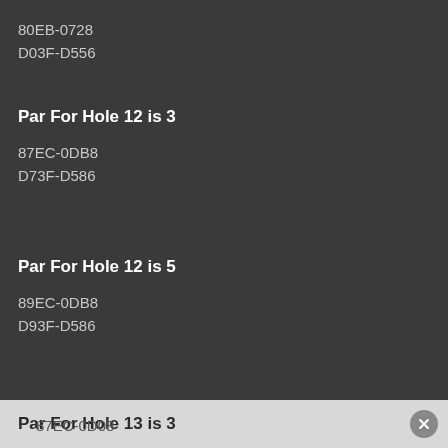80EB-0728
D03F-D556
Par For Hole 12 is 3
87EC-0DB8
D73F-D586
Par For Hole 12 is 5
89EC-0DB8
D93F-D586
Par For Hole 13 is 3
87EC-0D08